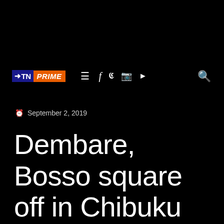ZTN PRIME — navigation bar with logo, hamburger menu, social icons (Facebook, Twitter, Instagram, YouTube), and search icon
September 2, 2019
Dembare, Bosso square off in Chibuku cup